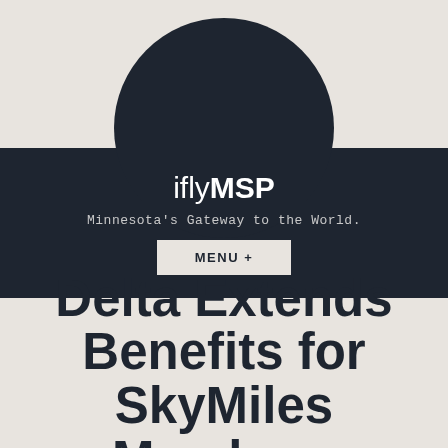[Figure (logo): iflyMSP logo with circle and nav bar. Text reads 'iflyMSP' and 'Minnesota's Gateway to the World.' with a MENU + button. Dark navy background with cyan blue stripes.]
Delta Extends Benefits for SkyMiles Members